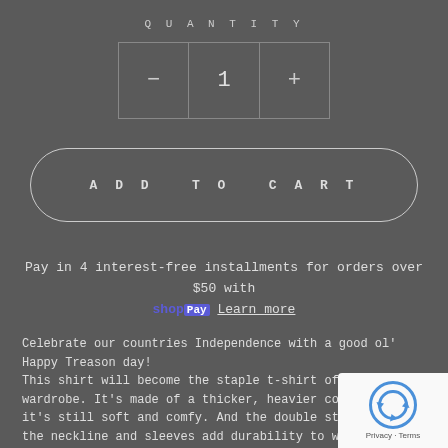QUANTITY
— 1 +
ADD TO CART
Pay in 4 interest-free installments for orders over $50 with shop Pay Learn more
Celebrate our countries Independence with a good ol' Happy Treason day! This shirt will become the staple t-shirt of your wardrobe. It's made of a thicker, heavier cotton, but it's still soft and comfy. And the double stitching on the neckline and sleeves add durability to what is sure to be a favorite!
[Figure (logo): Google reCAPTCHA badge with recycle/shield icon and Privacy - Terms text]